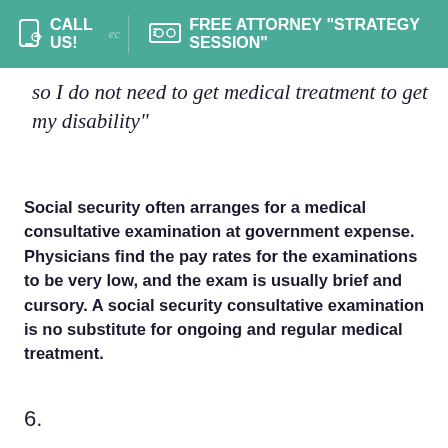CALL US! | FREE ATTORNEY "STRATEGY SESSION"
so I do not need to get medical treatment to get my disability"
Social security often arranges for a medical consultative examination at government expense. Physicians find the pay rates for the examinations to be very low, and the exam is usually brief and cursory. A social security consultative examination is no substitute for ongoing and regular medical treatment.
6.